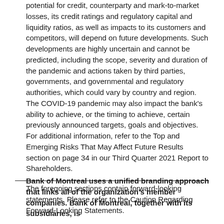potential for credit, counterparty and mark-to-market losses, its credit ratings and regulatory capital and liquidity ratios, as well as impacts to its customers and competitors, will depend on future developments. Such developments are highly uncertain and cannot be predicted, including the scope, severity and duration of the pandemic and actions taken by third parties, governments, and governmental and regulatory authorities, which could vary by country and region. The COVID-19 pandemic may also impact the bank's ability to achieve, or the timing to achieve, certain previously announced targets, goals and objectives. For additional information, refer to the Top and Emerging Risks That May Affect Future Results section on page 34 in our Third Quarter 2021 Report to Shareholders.
The foregoing sections contain forward-looking statements. Please refer to the Caution Regarding Forward-Looking Statements.
Bank of Montreal uses a unified branding approach that links all of the organization's member companies. Bank of Montreal, together with its subsidiaries, is